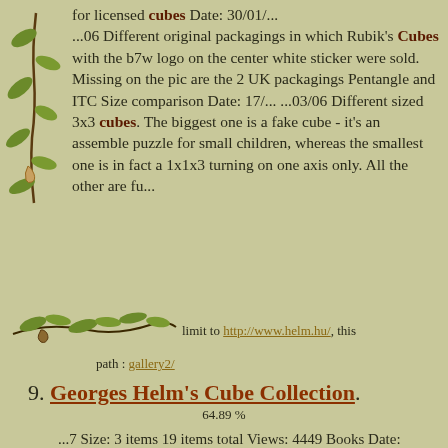for licensed cubes Date: 30/01/... ...06 Different original packagings in which Rubik's Cubes with the b7w logo on the center white sticker were sold. Missing on the pic are the 2 UK packagings Pentangle and ITC Size comparison Date: 17/... ...03/06 Different sized 3x3 cubes. The biggest one is a fake cube - it's an assemble puzzle for small children, whereas the smallest one is in fact a 1x1x3 turning on one axis only. All the other are fu...
[Figure (illustration): Decorative vine/branch illustration with leaves, used as a divider]
limit to http://www.helm.hu/, this path : gallery2/
9. Georges Helm's Cube Collection. 64.89 %
...7 Size: 3 items 19 items total Views: 4449 Books Date: 11/05/07 Size: 346 items Views: 7858 Special Cubes Date: 0... ...9/05/07 Size: 4 items 224 items total Views: 13304